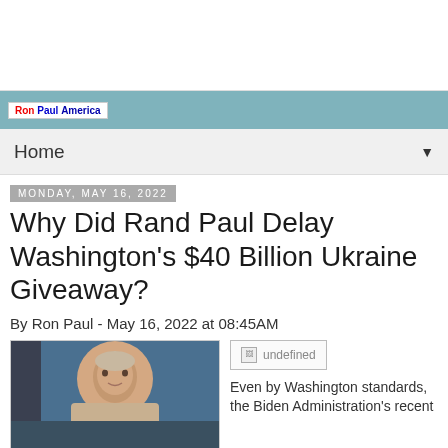Ron Paul America
Home
Monday, May 16, 2022
Why Did Rand Paul Delay Washington's $40 Billion Ukraine Giveaway?
By Ron Paul - May 16, 2022 at 08:45AM
[Figure (photo): Photo of Ron Paul, an elderly man smiling]
[Figure (other): Undefined advertisement image placeholder]
Even by Washington standards, the Biden Administration's recent